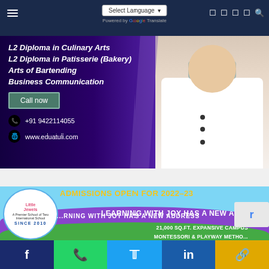Select Language | Powered by Google Translate
[Figure (illustration): Culinary school advertisement banner with chef photo, course list: L2 Diploma in Culinary Arts, L2 Diploma in Patisserie (Bakery), Arts of Bartending, Business Communication. Contact: +91 9422114055, www.eduatuli.com]
[Figure (illustration): Little Jewels school admissions banner for 2022-23. Text: ADMISSIONS OPEN FOR 2022-23, LEARNING WITH JOY HAS A NEW ADDRESS, 21,000 SQ.FT. EXPANSIVE CAMPUS, MONTESSORI & PLAYWAY METHOD. Logo says Little Jewels SINCE 2010.]
Facebook | WhatsApp | Twitter | LinkedIn | Link